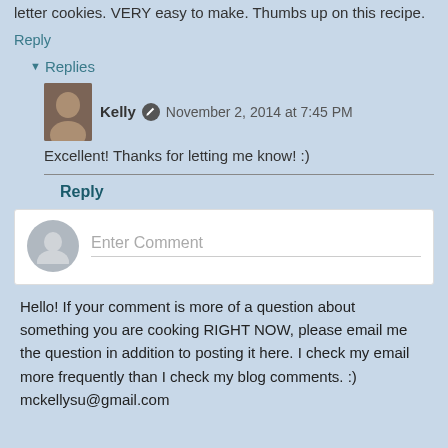letter cookies. VERY easy to make. Thumbs up on this recipe.
Reply
▾ Replies
Kelly · November 2, 2014 at 7:45 PM
Excellent! Thanks for letting me know! :)
Reply
Enter Comment
Hello! If your comment is more of a question about something you are cooking RIGHT NOW, please email me the question in addition to posting it here. I check my email more frequently than I check my blog comments. :)
mckellysu@gmail.com